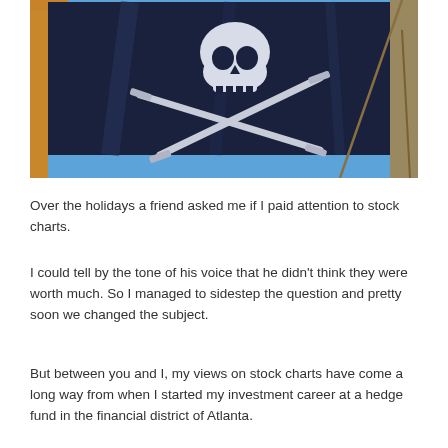[Figure (photo): A pirate flag (Jolly Roger) with skull and crossbones/swords on a dark navy background, flying on a ship mast against a clear blue sky.]
Over the holidays a friend asked me if I paid attention to stock charts.
I could tell by the tone of his voice that he didn't think they were worth much. So I managed to sidestep the question and pretty soon we changed the subject.
But between you and I, my views on stock charts have come a long way from when I started my investment career at a hedge fund in the financial district of Atlanta.